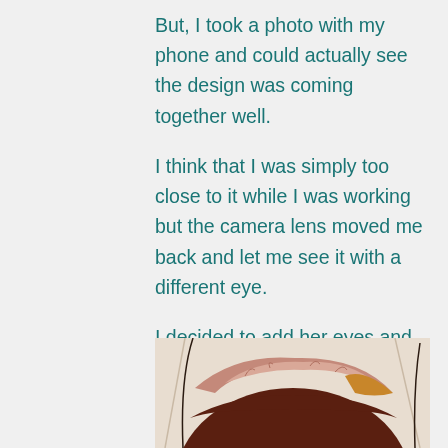But, I took a photo with my phone and could actually see the design was coming together well.
I think that I was simply too close to it while I was working but the camera lens moved me back and let me see it with a different eye.
I decided to add her eyes and see what difference that made….
[Figure (photo): A partially completed textile/quilt artwork showing layered fabric pieces in earthy tones of dark brown, pink/mauve, and orange/gold on a light background, with curved pencil or thread lines visible.]